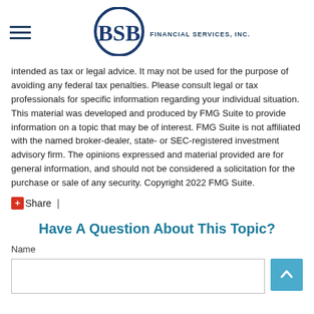BSB FINANCIAL SERVICES, INC.
intended as tax or legal advice. It may not be used for the purpose of avoiding any federal tax penalties. Please consult legal or tax professionals for specific information regarding your individual situation. This material was developed and produced by FMG Suite to provide information on a topic that may be of interest. FMG Suite is not affiliated with the named broker-dealer, state- or SEC-registered investment advisory firm. The opinions expressed and material provided are for general information, and should not be considered a solicitation for the purchase or sale of any security. Copyright 2022 FMG Suite.
Share  |
Have A Question About This Topic?
Name